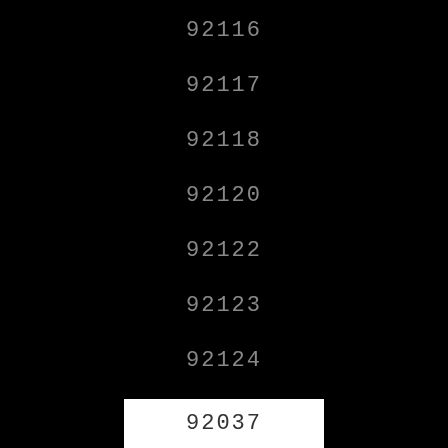92116
92117
92118
92120
92122
92123
92124
92182
[]
92037